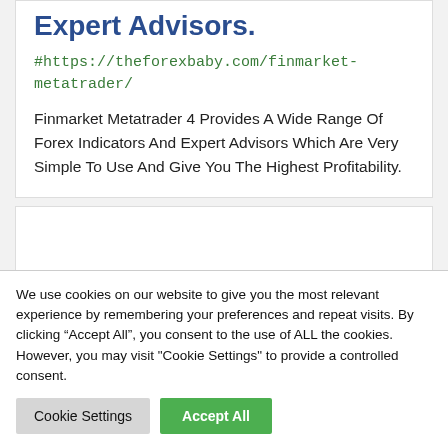Expert Advisors.
#https://theforexbaby.com/finmarket-metatrader/
Finmarket Metatrader 4 Provides A Wide Range Of Forex Indicators And Expert Advisors Which Are Very Simple To Use And Give You The Highest Profitability.
We use cookies on our website to give you the most relevant experience by remembering your preferences and repeat visits. By clicking “Accept All”, you consent to the use of ALL the cookies. However, you may visit "Cookie Settings" to provide a controlled consent.